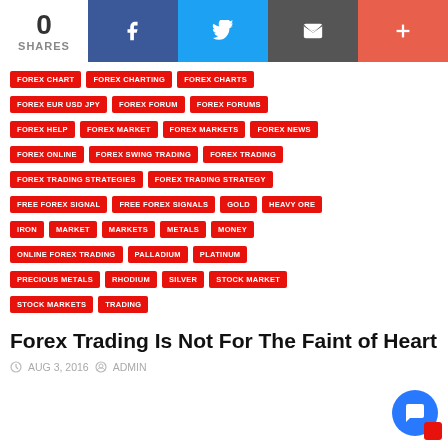[Figure (other): Social share bar with 0 shares, Facebook, Twitter, Email, and plus buttons]
FOREX CHART
FOREX CHARTING
FOREX CHARTS
FOREX EUR USD JPY
FOREX FORUM
FOREX FORUMS
FOREX HELP
FOREX MARKET
FOREX MARKETS
FOREX NEWS
FOREX ONLINE
FOREX SWING TRADING
FOREX TRADING
FOREX TRADING STRATEGIES
FOREX TRADING STRATEGY
FREE FOREX SIGNAL
FREE FOREX SIGNALS
GOLD
HEAVY ORE
IRON
MARKET
MARKETS
METALS
MONEY
ONLINE FOREX TRADING
PALLADIUM
PLATINUM
PRECIOUS METALS
RHODIUM
SILVER
STOCK MARKET
STOCK MARKETS
TRADING
Forex Trading Is Not For The Faint of Heart
AUG 3, 2016  ADMIN